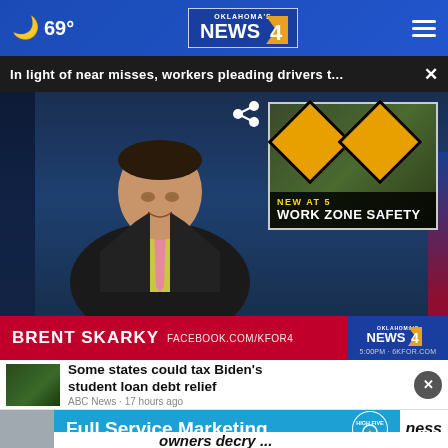69°
[Figure (screenshot): Oklahoma's News 4 logo in the header bar]
In light of near misses, workers pleading drivers t...
[Figure (photo): News anchor Brent Skarky presenting a Work Zone Safety segment on Oklahoma's News 4. Lower third shows name bar: BRENT SKARKY FACEBOOK.COM/KFOR4. Thumbnail overlay in upper right shows construction zone signs with text NEW AT 5 / WORK ZONE SAFETY.]
BRENT SKARKY FACEBOOK.COM/KFOR4
Some states could tax Biden's student loan debt relief
ABC News · 17 hours ago
Full Service Marketing
owners decry ...